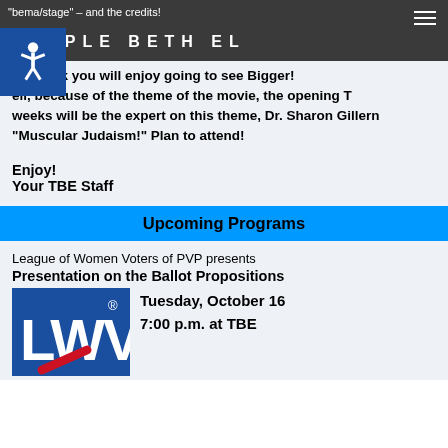"bema/stage" – and the credits!
TEMPLE BETH EL
We think you will enjoy going to see Bigger! Well, because of the theme of the movie, the opening weeks will be the expert on this theme, Dr. Sharon Gillerm "Muscular Judaism!" Plan to attend!
Enjoy!
Your TBE Staff
Upcoming Programs
League of Women Voters of PVP presents
Presentation on the Ballot Propositions
[Figure (logo): LWV (League of Women Voters) logo — blue block letters with red diagonal swoosh]
Tuesday, October 16
7:00 p.m. at TBE